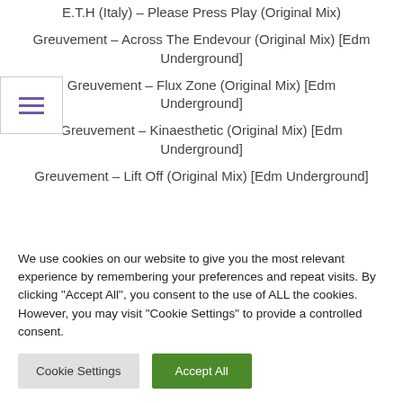E.T.H (Italy) – Please Press Play (Original Mix)
Greuvement – Across The Endevour (Original Mix) [Edm Underground]
Greuvement – Flux Zone (Original Mix) [Edm Underground]
Greuvement – Kinaesthetic (Original Mix) [Edm Underground]
Greuvement – Lift Off (Original Mix) [Edm Underground]
We use cookies on our website to give you the most relevant experience by remembering your preferences and repeat visits. By clicking "Accept All", you consent to the use of ALL the cookies. However, you may visit "Cookie Settings" to provide a controlled consent.